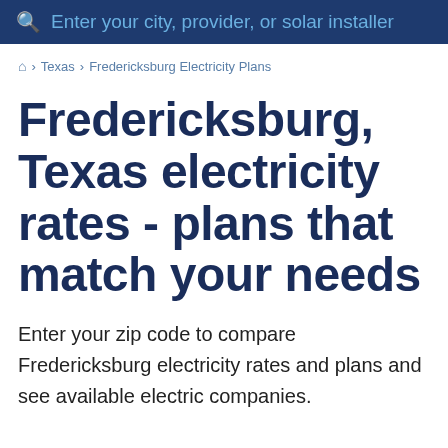Enter your city, provider, or solar installer
🏠 › Texas › Fredericksburg Electricity Plans
Fredericksburg, Texas electricity rates - plans that match your needs
Enter your zip code to compare Fredericksburg electricity rates and plans and see available electric companies.